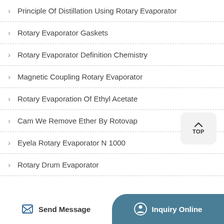Principle Of Distillation Using Rotary Evaporator
Rotary Evaporator Gaskets
Rotary Evaporator Definition Chemistry
Magnetic Coupling Rotary Evaporator
Rotary Evaporation Of Ethyl Acetate
Cam We Remove Ether By Rotovap
Eyela Rotary Evaporator N 1000
Rotary Drum Evaporator
Send Message  Inquiry Online